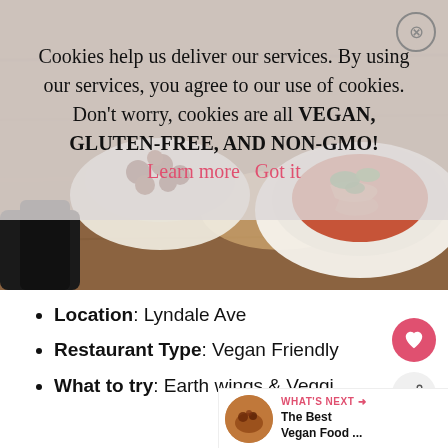Cookies help us deliver our services. By using our services, you agree to our use of cookies. Don't worry, cookies are all VEGAN, GLUTEN-FREE, AND NON-GMO! Learn more  Got it
[Figure (photo): Food photo showing plates of food on a wooden table, including what appears to be a bowl of dark bites and a plate with pasta/tomato dish with greens]
Location: Lyndale Ave
Restaurant Type: Vegan Friendly
What to try: Earth wings & Veggi...
WHAT'S NEXT → The Best Vegan Food ...